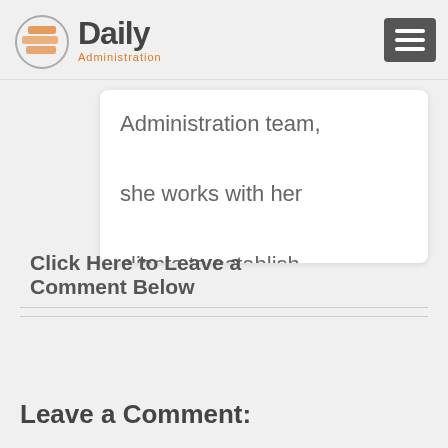Daily Administration
Administration team, she works with her clients to establish processes for profit¬able and repeatable growth.
Click Here to Leave a Comment Below
Leave a Comment: